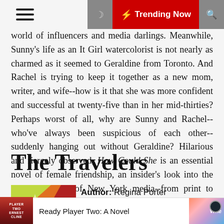Trending Now
world of influencers and media darlings. Meanwhile, Sunny's life as an It Girl watercolorist is not nearly as charmed as it seemed to Geraldine from Toronto. And Rachel is trying to keep it together as a new mom, writer, and wife--how is it that she was more confident and successful at twenty-five than in her mid-thirties? Perhaps worst of all, why are Sunny and Rachel--who've always been suspicious of each other--suddenly hanging out without Geraldine? Hilarious and fiercely observed, How Could She is an essential novel of female friendship, an insider's look into the cutthroat world of New York media--from print to podcasting--and a witty exploration of the ways we can and cannot escape our pasts.
The Travelers
Author: Regina Porter
Editor: Hogarth
[Figure (illustration): Book cover thumbnail with orange/red gradient and text]
Ready Player Two: A Novel